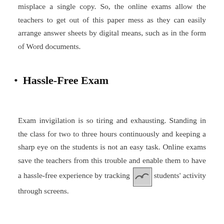misplace a single copy. So, the online exams allow the teachers to get out of this paper mess as they can easily arrange answer sheets by digital means, such as in the form of Word documents.
Hassle-Free Exam
Exam invigilation is so tiring and exhausting. Standing in the class for two to three hours continuously and keeping a sharp eye on the students is not an easy task. Online exams save the teachers from this trouble and enable them to have a hassle-free experience by tracking the students' activity through screens.